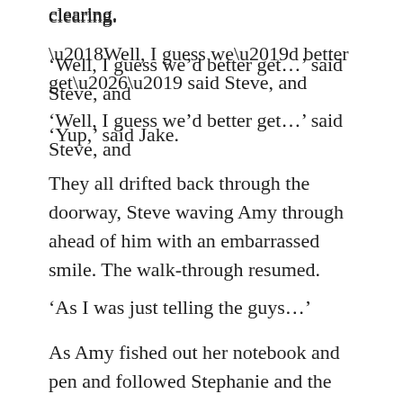clearing.
‘Well, I guess we’d better get…’ said Steve, and
‘Yup,’ said Jake.
They all drifted back through the doorway, Steve waving Amy through ahead of him with an embarrassed smile. The walk-through resumed.
‘As I was just telling the guys…’
As Amy fished out her notebook and pen and followed Stephanie and the other two investigators around the hotel, she was doing three things: she was trying to fix on what